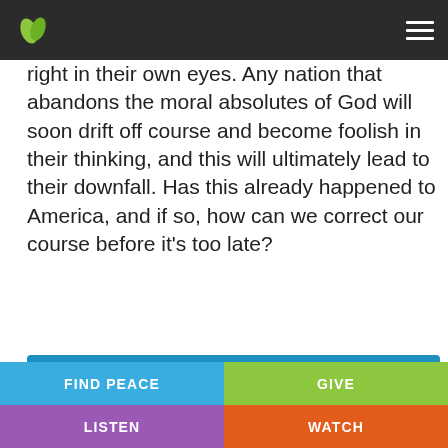[Navigation header with logo and menu]
right in their own eyes. Any nation that abandons the moral absolutes of God will soon drift off course and become foolish in their thinking, and this will ultimately lead to their downfall. Has this already happened to America, and if so, how can we correct our course before it's too late?
[Figure (other): Audio player with play button, 00:00 timestamp, progress bar, and 00:00 end time on a blue background]
Podcast: Play in new window | Download (Duration: 40:24 — 37.5MB) | Embed
FIND PEACE | GIVE | LISTEN | WATCH